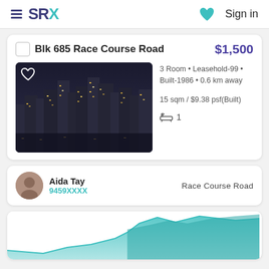SRX  Sign in
Blk 685 Race Course Road  $1,500
3 Room • Leasehold-99 • Built-1986 • 0.6 km away
15 sqm / $9.38 psf(Built)
🛁 1
Aida Tay
9459XXXX
Race Course Road
[Figure (other): Partial area chart showing property price trend for Race Course Road, teal/green colored area chart partially visible at bottom of page]